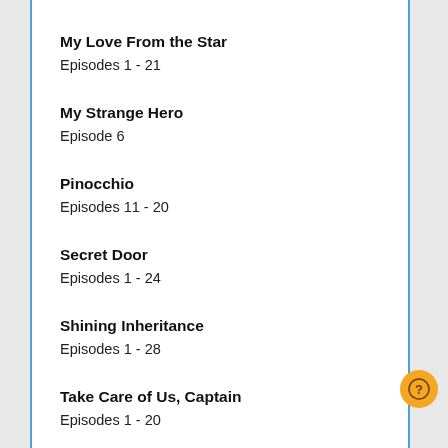My Love From the Star
Episodes 1 - 21
My Strange Hero
Episode 6
Pinocchio
Episodes 11 - 20
Secret Door
Episodes 1 - 24
Shining Inheritance
Episodes 1 - 28
Take Care of Us, Captain
Episodes 1 - 20
The Gang Doctor